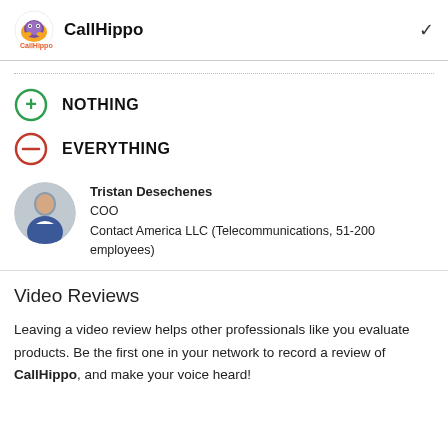CallHippo
NOTHING
EVERYTHING
Tristan Desechenes
COO
Contact America LLC (Telecommunications, 51-200 employees)
Video Reviews
Leaving a video review helps other professionals like you evaluate products. Be the first one in your network to record a review of CallHippo, and make your voice heard!